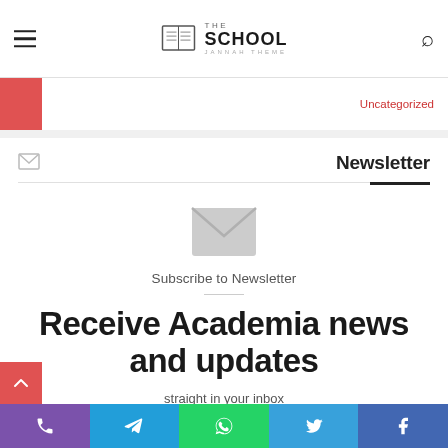THE SCHOOL JANNAH THEME — navigation with hamburger menu, logo, search icon
Uncategorized
Newsletter
[Figure (illustration): Large grey envelope/mail icon]
Subscribe to Newsletter
Receive Academia news and updates
straight in your inbox
Social share buttons: phone, Telegram, WhatsApp, Twitter, Facebook